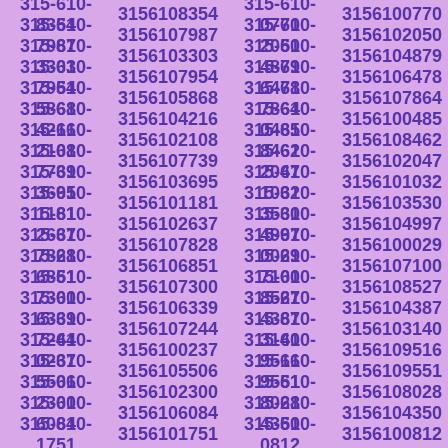315-610-8354 3156108354 315-610-0770 3156100770 315-610-7987 3156107987 315-610-2050 3156102050 315-610-3303 3156103303 315-610-4879 3156104879 315-610-7954 3156107954 315-610-6478 3156106478 315-610-5868 3156105868 315-610-7864 3156107864 315-610-4216 3156104216 315-610-0485 3156100485 315-610-2108 3156102108 315-610-8462 3156108462 315-610-7739 3156107739 315-610-2047 3156102047 315-610-3695 3156103695 315-610-1032 3156101032 315-610-1181 3156101181 315-610-3530 3156103530 315-610-2637 3156102637 315-610-4997 3156104997 315-610-7828 3156107828 315-610-0029 3156100029 315-610-6851 3156106851 315-610-7100 3156107100 315-610-7300 3156107300 315-610-8527 3156108527 315-610-6339 3156106339 315-610-4387 3156104387 315-610-7244 3156107244 315-610-3140 3156103140 315-610-0237 3156100237 315-610-9516 3156109516 315-610-5506 3156105506 315-610-9551 3156109551 315-610-2300 3156102300 315-610-8028 3156108028 315-610-6084 3156106084 315-610-4350 3156104350 315-610-1751 3156101751 315-610-0812 3156100812